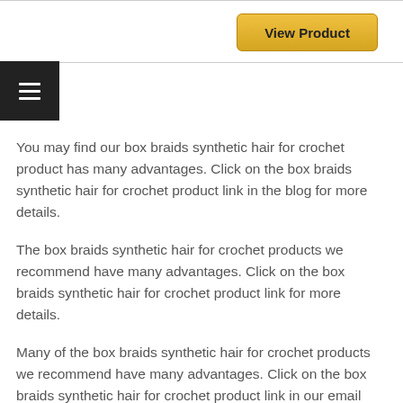[Figure (other): View Product button with gold/yellow gradient background]
[Figure (other): Hamburger menu icon (three horizontal lines) on dark background]
You may find our box braids synthetic hair for crochet product has many advantages. Click on the box braids synthetic hair for crochet product link in the blog for more details.
The box braids synthetic hair for crochet products we recommend have many advantages. Click on the box braids synthetic hair for crochet product link for more details.
Many of the box braids synthetic hair for crochet products we recommend have many advantages. Click on the box braids synthetic hair for crochet product link in our email newsletter for more details.